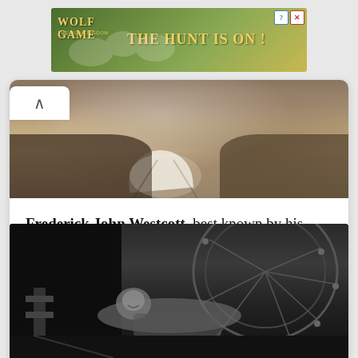[Figure (illustration): Advertisement banner for 'Wolf Game: The Old Kingdom' featuring wolves running in a field with golden text 'THE HUNT IS ON!' on a green/gold background. Has close and help icons in top-right corner.]
[Figure (photo): Color close-up photograph of a man's torso and lower face showing a white collar/shirt and dark coat, partially blurred portrait.]
Frederick John Westcott, best known by his stage name Fred Karno, was an English theatre impresario of the British music
[Figure (photo): Black and white photograph of a man (likely Fred Karno or associated performer) reclining on what appears to be a large circular mechanical device or stage prop, smiling at the camera.]